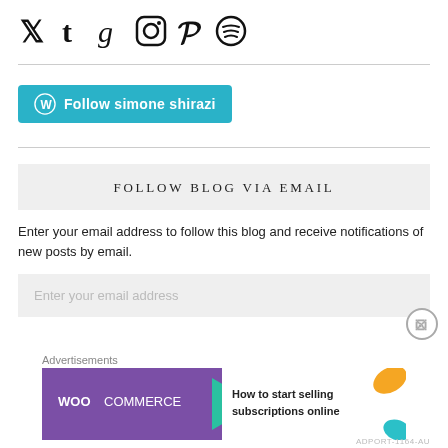[Figure (other): Social media icons row: Twitter bird, Tumblr t, Goodreads g, Instagram camera circle, Pinterest P, Spotify circle]
[Figure (other): Teal/cyan button with WordPress logo and text: Follow simone shirazi]
FOLLOW BLOG VIA EMAIL
Enter your email address to follow this blog and receive notifications of new posts by email.
Enter your email address
[Figure (other): Advertisement banner: WooCommerce purple logo with teal arrow and text: How to start selling subscriptions online]
Advertisements